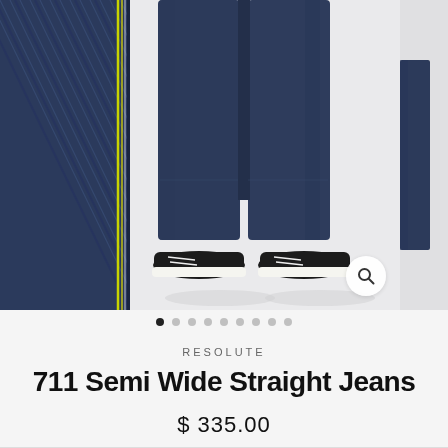[Figure (photo): Product carousel showing denim jeans close-up on the left panel and a model wearing dark navy semi-wide straight jeans with black sneakers in the center panel. A magnify/search icon button is visible in the bottom-right of the center image.]
● ○ ○ ○ ○ ○ ○ ○ ○  (carousel dots, first active)
RESOLUTE
711 Semi Wide Straight Jeans
$ 335.00